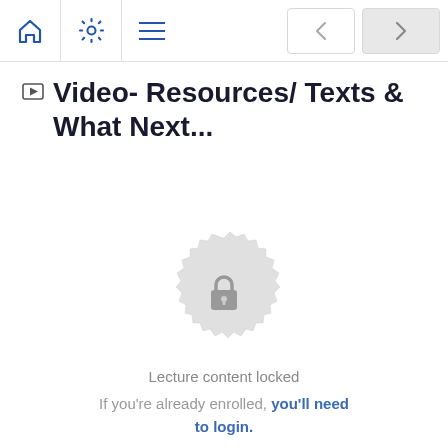Navigation bar with home, settings, menu icons and prev/next arrows
Video- Resources/ Texts & What Next...
[Figure (illustration): A decorative badge/seal shape with a padlock icon in the center, rendered in light grey, indicating locked content]
Lecture content locked
If you’re already enrolled, you’ll need to login.